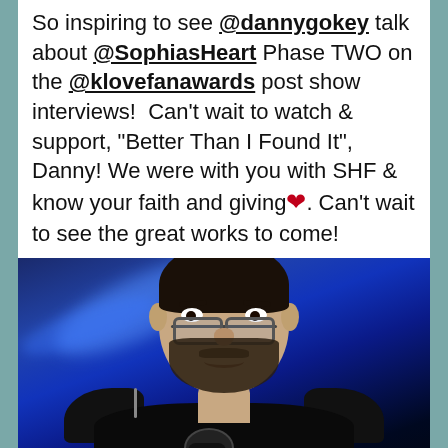So inspiring to see @dannygokey talk about @SophiasHeart Phase TWO on the @klovefanawards post show interviews!  Can't wait to watch & support, "Better Than I Found It", Danny! We were with you with SHF & know your faith and giving ❤. Can't wait to see the great works to come!
[Figure (photo): Photo of a man (Danny Gokey) with dark hair, beard, and glasses, wearing a dark suit, holding a TBN microphone, in front of blue stage lighting]